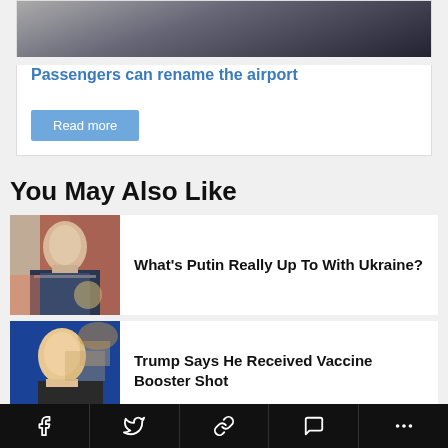[Figure (photo): Partial view of a person at the top of a card]
Passengers can rename the airport
Read more
You May Also Like
[Figure (photo): Photo of Vladimir Putin gesturing, seated at a table]
What's Putin Really Up To With Ukraine?
[Figure (photo): Photo of Donald Trump with hand raised]
Trump Says He Received Vaccine Booster Shot
Facebook  Twitter  Link  Comment  More